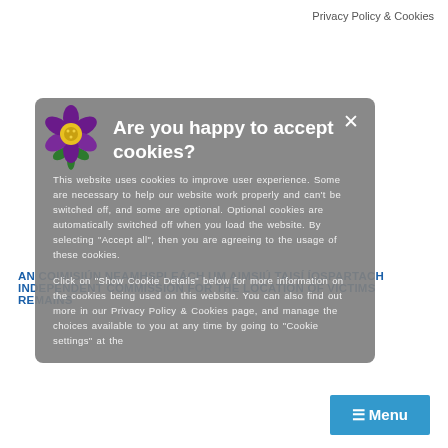Privacy Policy & Cookies
[Figure (logo): Flower logo for the Independent Commission for the Location of Victims' Remains, purple and yellow flower with green stem and leaves]
AN COIMISIÚN NEAMHSPLEÁCH UM AIMSIÚ TAISÍ ÍOSPARTACH
INDEPENDENT COMMISSION FOR THE LOCATION OF VICTIMS REMAINS
[Figure (screenshot): Blue menu button with three horizontal lines icon and text 'Menu']
Call for information on 45th anniversary of the abduction of Robert Nairac
You are here:  Home / Call for information on 45th anniversary of the abduction of Robert Nairac
Are you happy to accept cookies?
This website uses cookies to improve user experience. Some are necessary to help our website work properly and can't be switched off, and some are optional. Optional cookies are automatically switched off when you load the website. By selecting "Accept all", then you are agreeing to the usage of these cookies.
Click on "Show Cookie Details" below for more information on the cookies being used on this website. You can also find out more in our Privacy Policy & Cookies page, and manage the choices available to you at any time by going to "Cookie settings" at the